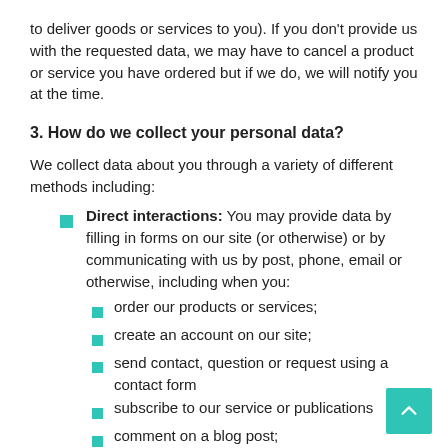to deliver goods or services to you). If you don't provide us with the requested data, we may have to cancel a product or service you have ordered but if we do, we will notify you at the time.
3. How do we collect your personal data?
We collect data about you through a variety of different methods including:
Direct interactions: You may provide data by filling in forms on our site (or otherwise) or by communicating with us by post, phone, email or otherwise, including when you:
order our products or services;
create an account on our site;
send contact, question or request using a contact form
subscribe to our service or publications
comment on a blog post;